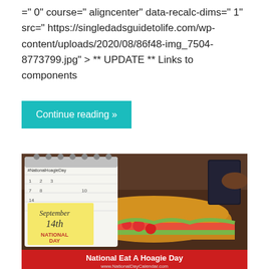=" 0" course=" aligncenter" data-recalc-dims=" 1" src=" https://singledadsguidetolife.com/wp-content/uploads/2020/08/86f48-img_7504-8773799.jpg" > ** UPDATE ** Links to components
Continue reading »
[Figure (photo): National Eat A Hoagie Day promotional image showing a hoagie/submarine sandwich with tomatoes, lettuce, and other toppings, alongside a calendar page showing September 14th National Day, with a red banner at the bottom reading 'National Eat A Hoagie Day www.NationalDayCalendar.com']